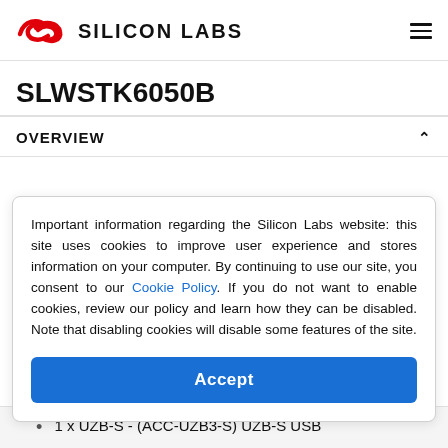SILICON LABS
SLWSTK6050B
OVERVIEW
Important information regarding the Silicon Labs website: this site uses cookies to improve user experience and stores information on your computer. By continuing to use our site, you consent to our Cookie Policy. If you do not want to enable cookies, review our policy and learn how they can be disabled. Note that disabling cookies will disable some features of the site.
Accept
1 x UZB-S - (ACC-UZB3-S) UZB-S USB